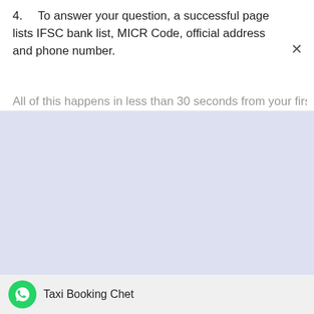4.   To answer your question, a successful page lists IFSC bank list, MICR Code, official address and phone number.
All of this happens in less than 30 seconds from your first...
[Figure (screenshot): Light lavender/blue colored content area (partially visible, cropped)]
Taxi Booking Chet